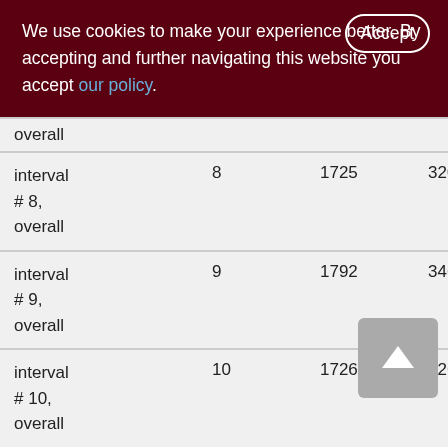We use cookies to make your experience better. By accepting and further navigating this website you accept our policy.
|  |  |  |  |
| --- | --- | --- | --- |
| overall |  |  |  |
| interval # 8, overall | 8 | 1725 | 32074 |
| interval # 9, overall | 9 | 1792 | 34643 |
| interval # 10, overall | 10 | 1726 | 32688 |
Done for 48380 ms, from 6:58:45.29 to 6:59:33.67.